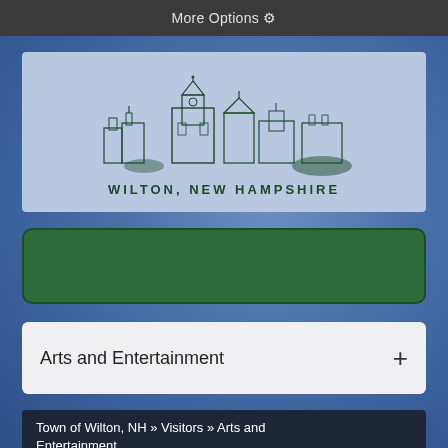More Options ⚙
[Figure (logo): Wilton New Hampshire town skyline logo with buildings and text 'WILTON, NEW HAMPSHIRE']
[Figure (other): Green search/menu bar (empty)]
Arts and Entertainment +
Town of Wilton, NH » Visitors » Arts and Entertainment